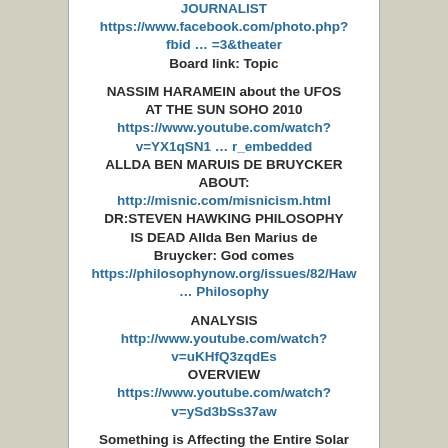JOURNALIST https://www.facebook.com/photo.php?fbid … =3&theater Board link: Topic
NASSIM HARAMEIN about the UFOS AT THE SUN SOHO 2010 https://www.youtube.com/watch?v=YX1qSN1 … r_embedded ALLDA BEN MARUIS DE BRUYCKER ABOUT: http://misnic.com/misnicism.html DR:STEVEN HAWKING PHILOSOPHY IS DEAD Allda Ben Marius de Bruycker: God comes https://philosophynow.org/issues/82/Haw … Philosophy
ANALYSIS http://www.youtube.com/watch?v=uKHfQ3zqdEs OVERVIEW https://www.youtube.com/watch?v=ySd3bSs37aw
Something is Affecting the Entire Solar System – Sun's Magnetic Field 230% Stronger http://www.abovetopsecret.com/forum/th
https://www.youtube.com/watch?